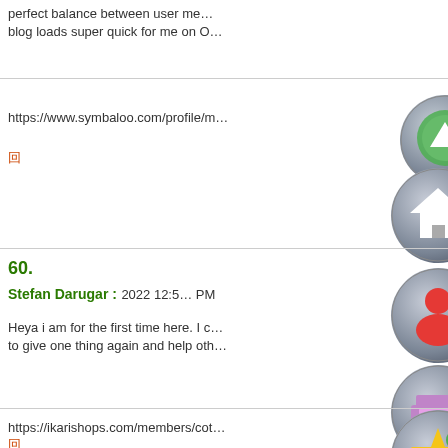perfect balance between user me… blog loads super quick for me on O…
https://www.symbaloo.com/profile/m…
回
60.
Stefan Darugar : 2022 12:5... PM
Heya i am for the first time here. I c… to give one thing again and help oth…
https://ikarishops.com/members/cot…
回